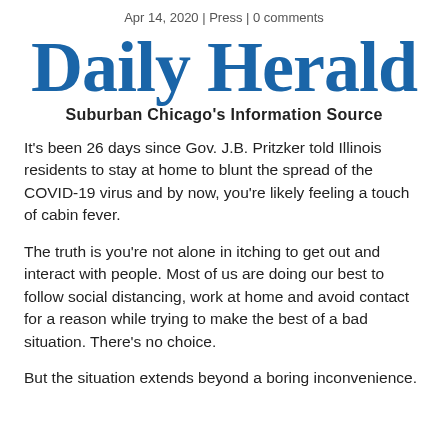Apr 14, 2020 | Press | 0 comments
[Figure (logo): Daily Herald newspaper logo with tagline 'Suburban Chicago's Information Source']
It’s been 26 days since Gov. J.B. Pritzker told Illinois residents to stay at home to blunt the spread of the COVID-19 virus and by now, you’re likely feeling a touch of cabin fever.
The truth is you’re not alone in itching to get out and interact with people. Most of us are doing our best to follow social distancing, work at home and avoid contact for a reason while trying to make the best of a bad situation. There’s no choice.
But the situation extends beyond a boring inconvenience.